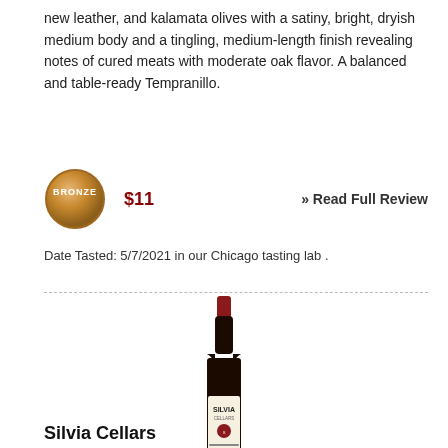new leather, and kalamata olives with a satiny, bright, dryish medium body and a tingling, medium-length finish revealing notes of cured meats with moderate oak flavor. A balanced and table-ready Tempranillo.
[Figure (infographic): Bronze medal badge with price $11 and 'Read Full Review' link]
Date Tasted: 5/7/2021 in our Chicago tasting lab .
[Figure (photo): Wine bottle of Silvia Cellars with red cap and label, with 'tastings' watermark below]
Silvia Cellars